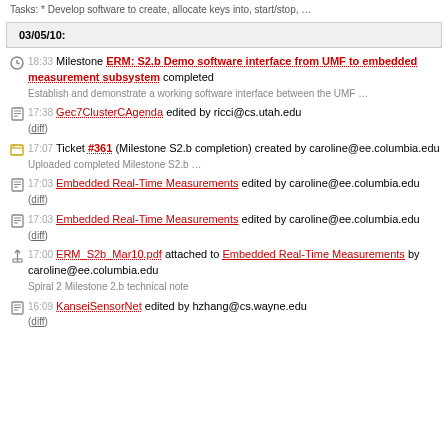Tasks: * Develop software to create, allocate keys into, start/stop, …
03/05/10:
18:33 Milestone ERM: S2.b Demo software interface from UMF to embedded measurement subsystem completed
Establish and demonstrate a working software interface between the UMF …
17:38 Gec7ClusterCAgenda edited by ricci@cs.utah.edu (diff)
17:07 Ticket #361 (Milestone S2.b completion) created by caroline@ee.columbia.edu
Uploaded completed Milestone S2.b …
17:03 Embedded Real-Time Measurements edited by caroline@ee.columbia.edu (diff)
17:03 Embedded Real-Time Measurements edited by caroline@ee.columbia.edu (diff)
17:00 ERM_S2b_Mar10.pdf attached to Embedded Real-Time Measurements by caroline@ee.columbia.edu
Spiral 2 Milestone 2.b technical note
16:09 KanseiSensorNet edited by hzhang@cs.wayne.edu (diff)